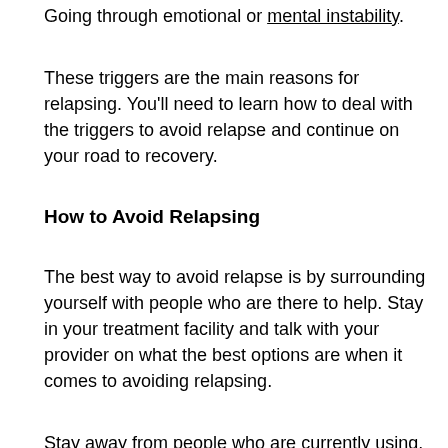Going through emotional or mental instability.
These triggers are the main reasons for relapsing. You'll need to learn how to deal with the triggers to avoid relapse and continue on your road to recovery.
How to Avoid Relapsing
The best way to avoid relapse is by surrounding yourself with people who are there to help. Stay in your treatment facility and talk with your provider on what the best options are when it comes to avoiding relapsing.
Stay away from people who are currently using. These people can be a bad influence on your sobriety. Sobriety is the key to living a wholesome life, so make sure to avoid any of the triggers we've mentioned above.